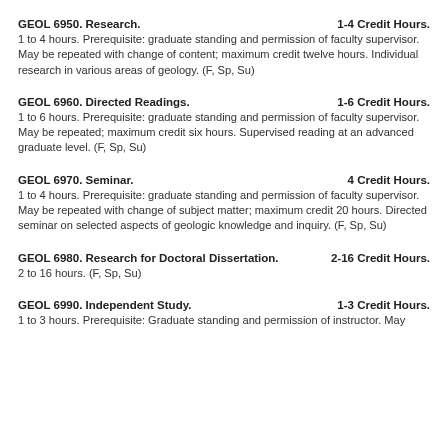GEOL 6950. Research. 1-4 Credit Hours.
1 to 4 hours. Prerequisite: graduate standing and permission of faculty supervisor. May be repeated with change of content; maximum credit twelve hours. Individual research in various areas of geology. (F, Sp, Su)
GEOL 6960. Directed Readings. 1-6 Credit Hours.
1 to 6 hours. Prerequisite: graduate standing and permission of faculty supervisor. May be repeated; maximum credit six hours. Supervised reading at an advanced graduate level. (F, Sp, Su)
GEOL 6970. Seminar. 4 Credit Hours.
1 to 4 hours. Prerequisite: graduate standing and permission of faculty supervisor. May be repeated with change of subject matter; maximum credit 20 hours. Directed seminar on selected aspects of geologic knowledge and inquiry. (F, Sp, Su)
GEOL 6980. Research for Doctoral Dissertation. 2-16 Credit Hours.
2 to 16 hours. (F, Sp, Su)
GEOL 6990. Independent Study. 1-3 Credit Hours.
1 to 3 hours. Prerequisite: Graduate standing and permission of instructor. May